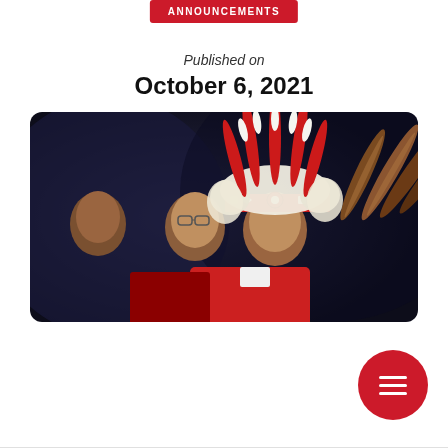ANNOUNCEMENTS
Published on
October 6, 2021
[Figure (photo): Indigenous leader wearing a traditional red and white feathered headdress with intricate beadwork, profile view, with other figures in the background, dark stage lighting.]
[Figure (other): Red circular menu button with three horizontal white lines (hamburger icon) in the bottom right corner.]